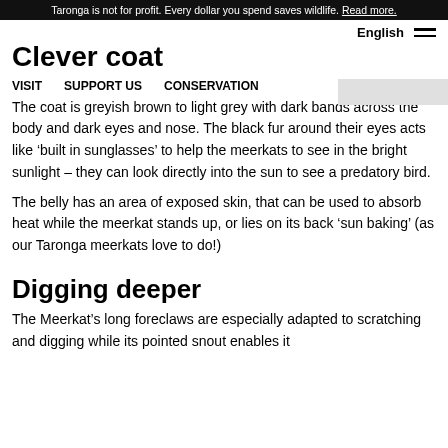Taronga is not for profit. Every dollar you spend saves wildlife. Read more.
English
Clever coat
VISIT   SUPPORT US   CONSERVATION
The coat is greyish brown to light grey with dark bands across the body and dark eyes and nose. The black fur around their eyes acts like ‘built in sunglasses’ to help the meerkats to see in the bright sunlight – they can look directly into the sun to see a predatory bird.
The belly has an area of exposed skin, that can be used to absorb heat while the meerkat stands up, or lies on its back ‘sun baking’ (as our Taronga meerkats love to do!)
Digging deeper
The Meerkat’s long foreclaws are especially adapted to scratching and digging while its pointed snout enables it